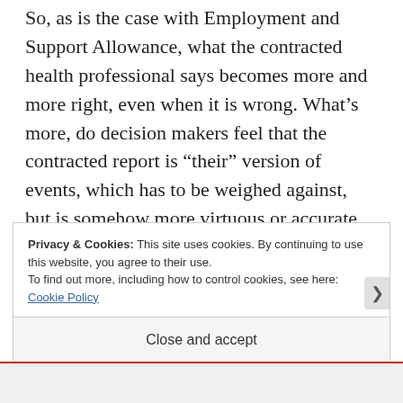So, as is the case with Employment and Support Allowance, what the contracted health professional says becomes more and more right, even when it is wrong. What’s more, do decision makers feel that the contracted report is “their” version of events, which has to be weighed against, but is somehow more virtuous or accurate than another health professional’s?
Privacy & Cookies: This site uses cookies. By continuing to use this website, you agree to their use.
To find out more, including how to control cookies, see here: Cookie Policy
Close and accept